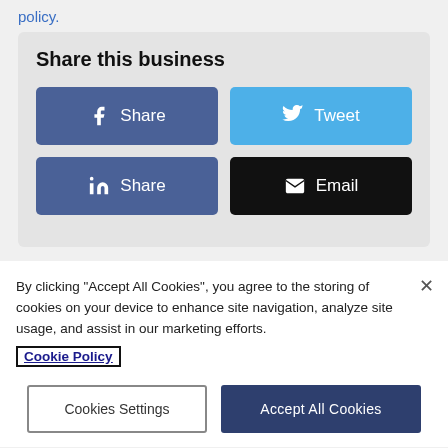policy.
Share this business
[Figure (screenshot): Social share buttons: Facebook Share, Tweet, LinkedIn Share, Email]
By clicking "Accept All Cookies", you agree to the storing of cookies on your device to enhance site navigation, analyze site usage, and assist in our marketing efforts.
Cookie Policy
Cookies Settings  Accept All Cookies